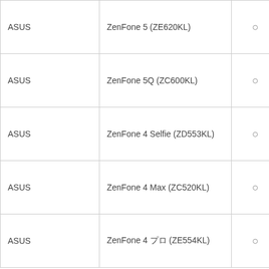| ASUS | ZenFone 5 (ZE620KL) | ○ | nanoSIM × |
| ASUS | ZenFone 5Q (ZC600KL) | ○ | nanoSIM × |
| ASUS | ZenFone 4 Selfie (ZD553KL) | ○ | nanoSIM × |
| ASUS | ZenFone 4 Max (ZC520KL) | ○ | nanoSIM × |
| ASUS | ZenFone 4 プロ (ZE554KL) | ○ | nanoSIM × |